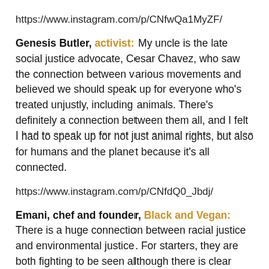https://www.instagram.com/p/CNfwQa1MyZF/
Genesis Butler, activist: My uncle is the late social justice advocate, Cesar Chavez, who saw the connection between various movements and believed we should speak up for everyone who's treated unjustly, including animals. There's definitely a connection between them all, and I felt I had to speak up for not just animal rights, but also for humans and the planet because it's all connected.
https://www.instagram.com/p/CNfdQ0_Jbdj/
Emani, chef and founder, Black and Vegan: There is a huge connection between racial justice and environmental justice. For starters, they are both fighting to be seen although there is clear factual evidence that injustice exists. On top of that, there is